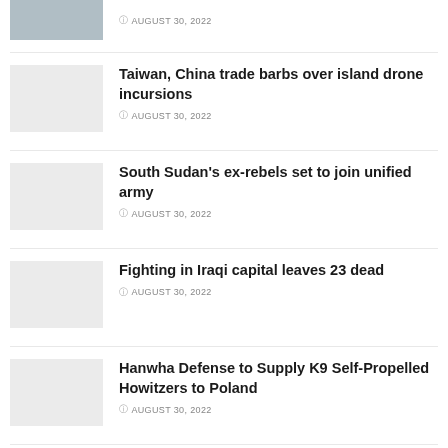AUGUST 30, 2022
Taiwan, China trade barbs over island drone incursions
AUGUST 30, 2022
South Sudan's ex-rebels set to join unified army
AUGUST 30, 2022
Fighting in Iraqi capital leaves 23 dead
AUGUST 30, 2022
Hanwha Defense to Supply K9 Self-Propelled Howitzers to Poland
AUGUST 30, 2022
Foreign forces arrive for military drills in eastern Russia
AUGUST 30, 2022